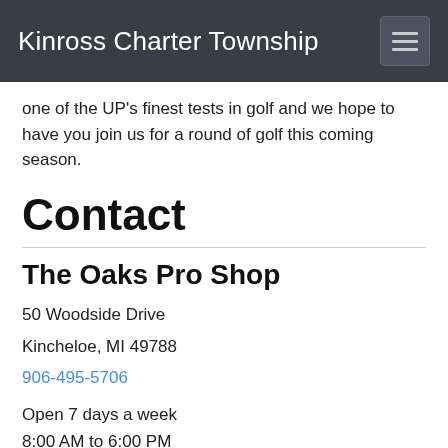Kinross Charter Township
one of the UP's finest tests in golf and we hope to have you join us for a round of golf this coming season.
Contact
The Oaks Pro Shop
50 Woodside Drive
Kincheloe, MI 49788
906-495-5706
Open 7 days a week
8:00 AM to 6:00 PM